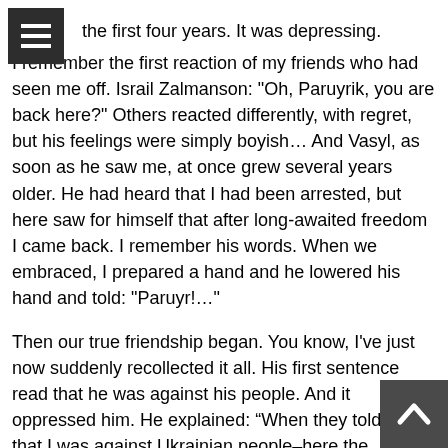the first four years. It was depressing.
I remember the first reaction of my friends who had seen me off. Israil Zalmanson: "Oh, Paruyrik, you are back here?" Others reacted differently, with regret, but his feelings were simply boyish… And Vasyl, as soon as he saw me, at once grew several years older. He had heard that I had been arrested, but here saw for himself that after long-awaited freedom I came back. I remember his words. When we embraced, I prepared a hand and he lowered his hand and told: "Paruyr!…"
Then our true friendship began. You know, I've just now suddenly recollected it all. His first sentence read that he was against his people. And it oppressed him. He explained: “When they told me that I was against Ukrainian people–here the Ukrainians lived in this society and I was against them–for me it was equivalent to death”. Therefore he spoke at the trial: “I am not against my people, I cannot be against my people”. We were political activists. And he was a dissident, he was a littérateur, and I will tell a detail which you, Ukrainians, probably know very well. When